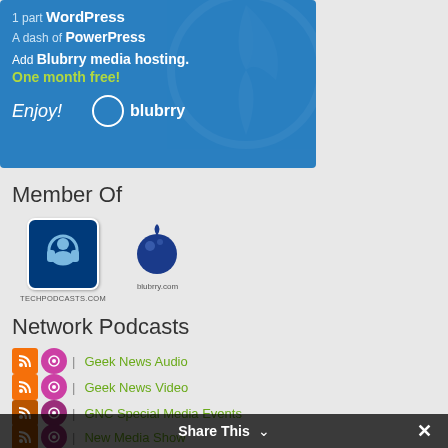[Figure (illustration): Blue advertisement banner for WordPress, PowerPress, and Blubrry media hosting with text: '1 part WordPress', 'A dash of PowerPress', 'Add Blubrry media hosting. One month free!', 'Enjoy!' and Blubrry logo with WordPress watermark]
Member Of
[Figure (logo): TechPodcasts.com logo - dark blue rounded square with headphones icon and text TECHPODCASTS.COM below]
[Figure (logo): blubrry.com logo - dark blue berry/blueberry icon with text blubrry.com below]
Network Podcasts
| Geek News Audio
| Geek News Video
| GNC Special Media Events
| New Media Show
Share This